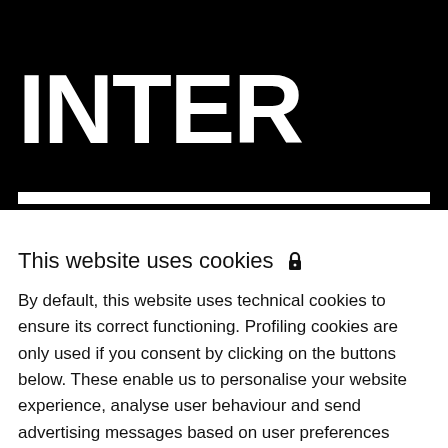INTER
This website uses cookies 🔒
By default, this website uses technical cookies to ensure its correct functioning. Profiling cookies are only used if you consent by clicking on the buttons below. These enable us to personalise your website experience, analyse user behaviour and send advertising messages based on user preferences derived from your browsing activity and use of online